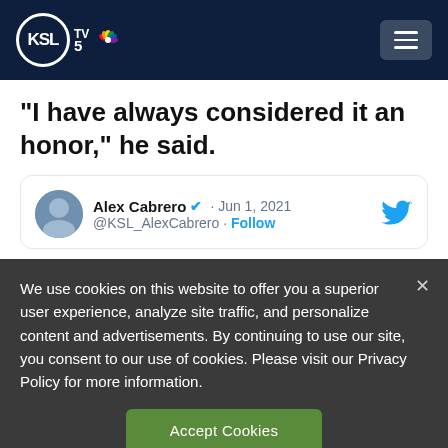KSL TV 5
“I have always considered it an honor,” he said.
[Figure (screenshot): Tweet from Alex Cabrero (@KSL_AlexCabrero) with blue verified checkmark, dated Jun 1, 2021, with Follow link and Twitter bird logo.]
We use cookies on this website to offer you a superior user experience, analyze site traffic, and personalize content and advertisements. By continuing to use our site, you consent to our use of cookies. Please visit our Privacy Policy for more information.
Accept Cookies